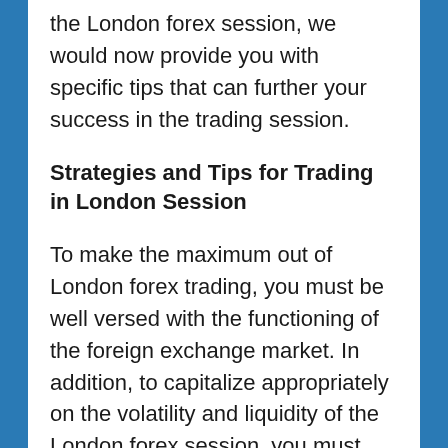the London forex session, we would now provide you with specific tips that can further your success in the trading session.
Strategies and Tips for Trading in London Session
To make the maximum out of London forex trading, you must be well versed with the functioning of the foreign exchange market. In addition, to capitalize appropriately on the volatility and liquidity of the London forex session, you must employ appropriate leverages while trading.